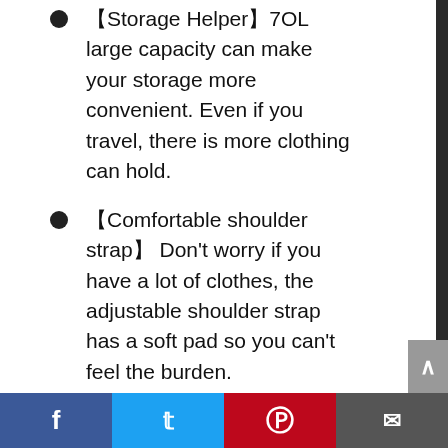【Storage Helper】7OL large capacity can make your storage more convenient. Even if you travel, there is more clothing can hold.
【Comfortable shoulder strap】Don't worry if you have a lot of clothes, the adjustable shoulder strap has a soft pad so you can't feel the burden.
【Intimate Pocket Design】 No need to worry about the space is not enough, the front and rear pockets can be designed to hold the phone, keys, change, do not worry about not being able to find.